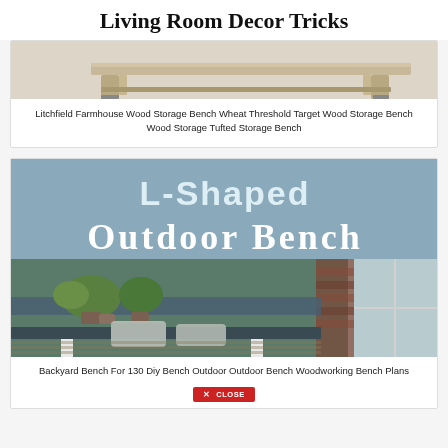Living Room Decor Tricks
[Figure (photo): Farmhouse wood storage bench on light background, partial view showing legs and top]
Litchfield Farmhouse Wood Storage Bench Wheat Threshold Target Wood Storage Bench Wood Storage Tufted Storage Bench
[Figure (photo): L-Shaped Outdoor Bench promotional image with text overlay on steel-blue background and photo of outdoor porch bench scene with plants]
Backyard Bench For 130 Diy Bench Outdoor Outdoor Bench Woodworking Bench Plans
✕ CLOSE